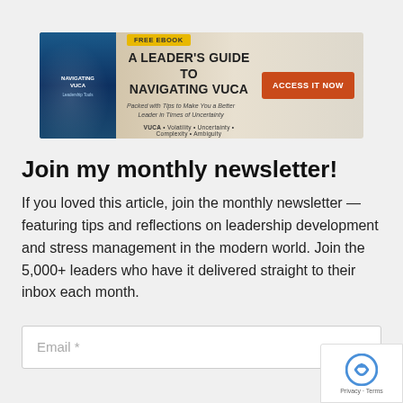[Figure (illustration): Banner ad for free ebook 'A Leader's Guide to Navigating VUCA' with book cover image on left, title and subtitle in center, and orange 'ACCESS IT NOW' button on right]
Join my monthly newsletter!
If you loved this article, join the monthly newsletter — featuring tips and reflections on leadership development and stress management in the modern world. Join the 5,000+ leaders who have it delivered straight to their inbox each month.
Email *